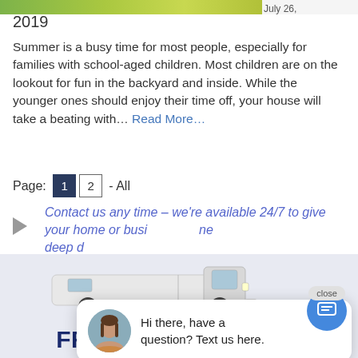[Figure (photo): Partial green outdoor/nature image at top, cropped]
July 26, 2019
Summer is a busy time for most people, especially for families with school-aged children. Most children are on the lookout for fun in the backyard and inside. While the younger ones should enjoy their time off, your house will take a beating with... Read More...
Page: 1 2 - All
Contact us any time – we're available 24/7 to give your home or business the deep d
[Figure (photo): Chat bubble overlay with avatar of a woman and message: Hi there, have a question? Text us here. Close button visible.]
[Figure (illustration): White service van illustration on light purple/blue background]
FREE Estimates!